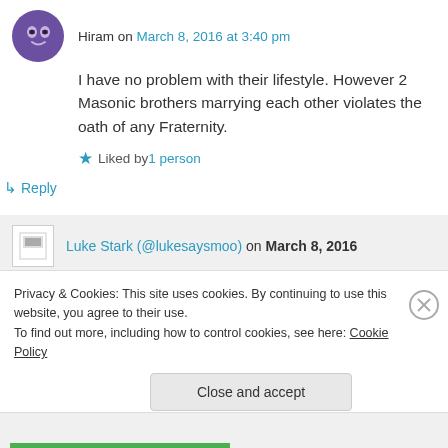Hiram on March 8, 2016 at 3:40 pm
I have no problem with their lifestyle. However 2 Masonic brothers marrying each other violates the oath of any Fraternity.
Liked by 1 person
↳ Reply
Luke Stark (@lukesaysmoo) on March 8, 2016
Privacy & Cookies: This site uses cookies. By continuing to use this website, you agree to their use. To find out more, including how to control cookies, see here: Cookie Policy
Close and accept